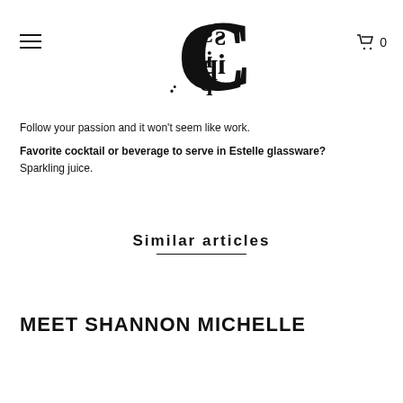sip.C — navigation header with logo, hamburger menu, and cart (0)
Follow your passion and it won't seem like work.
Favorite cocktail or beverage to serve in Estelle glassware? Sparkling juice.
Similar articles
MEET SHANNON MICHELLE